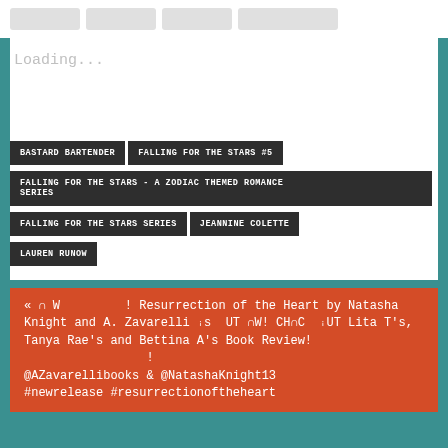Loading...
BASTARD BARTENDER
FALLING FOR THE STARS #5
FALLING FOR THE STARS - A ZODIAC THEMED ROMANCE SERIES
FALLING FOR THE STARS SERIES
JEANNINE COLETTE
LAUREN RUNOW
« ∩ W ! Resurrection of the Heart by Natasha Knight and A. Zavarelli ꜟs UT ∩W! CH∩C ꜟUT Lita T's, Tanya Rae's and Bettina A's Book Review! @AZavarellibooks & @NatashaKnight13 #newrelease #resurrectionoftheheart